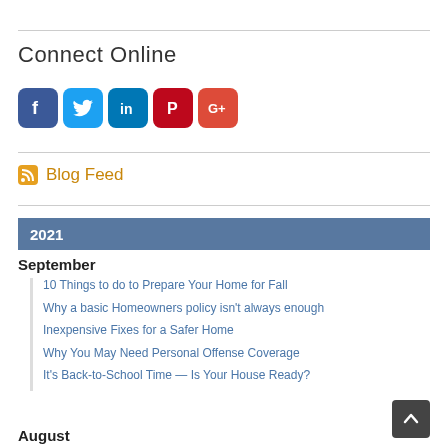Connect Online
[Figure (illustration): Social media icons: Facebook (blue), Twitter (light blue), LinkedIn (dark blue), Pinterest (red), Google+ (red/orange)]
Blog Feed
2021
September
10 Things to do to Prepare Your Home for Fall
Why a basic Homeowners policy isn't always enough
Inexpensive Fixes for a Safer Home
Why You May Need Personal Offense Coverage
It's Back-to-School Time — Is Your House Ready?
August